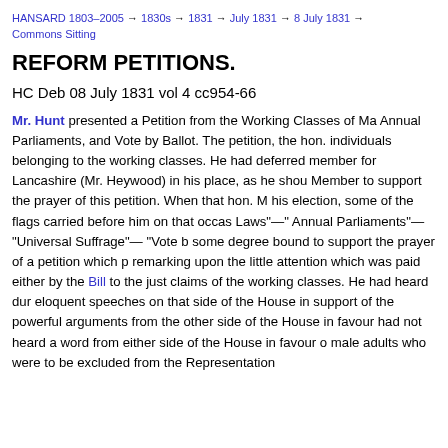HANSARD 1803–2005 → 1830s → 1831 → July 1831 → 8 July 1831 → Commons Sitting
REFORM PETITIONS.
HC Deb 08 July 1831 vol 4 cc954-66
Mr. Hunt presented a Petition from the Working Classes of Ma Annual Parliaments, and Vote by Ballot. The petition, the hon. individuals belonging to the working classes. He had deferred member for Lancashire (Mr. Heywood) in his place, as he shou Member to support the prayer of this petition. When that hon. M his election, some of the flags carried before him on that occas Laws"—" Annual Parliaments"— "Universal Suffrage"— "Vote b some degree bound to support the prayer of a petition which p remarking upon the little attention which was paid either by the Bill to the just claims of the working classes. He had heard dur eloquent speeches on that side of the House in support of the powerful arguments from the other side of the House in favour had not heard a word from either side of the House in favour o male adults who were to be excluded from the Representation